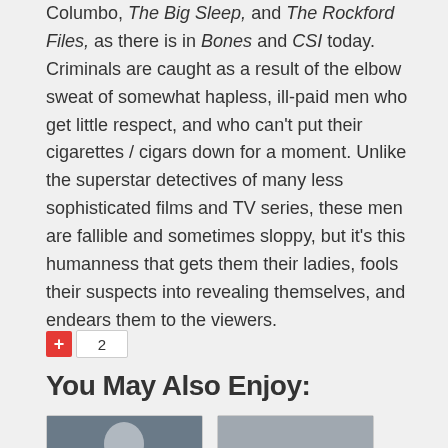Columbo, The Big Sleep, and The Rockford Files, as there is in Bones and CSI today. Criminals are caught as a result of the elbow sweat of somewhat hapless, ill-paid men who get little respect, and who can't put their cigarettes / cigars down for a moment. Unlike the superstar detectives of many less sophisticated films and TV series, these men are fallible and sometimes sloppy, but it's this humanness that gets them their ladies, fools their suspects into revealing themselves, and endears them to the viewers.
+ 2
You May Also Enjoy:
[Figure (photo): Black and white photo showing a person/figure, appearing to be a portrait or still]
[Figure (photo): Black and white landscape or outdoor scene photo]